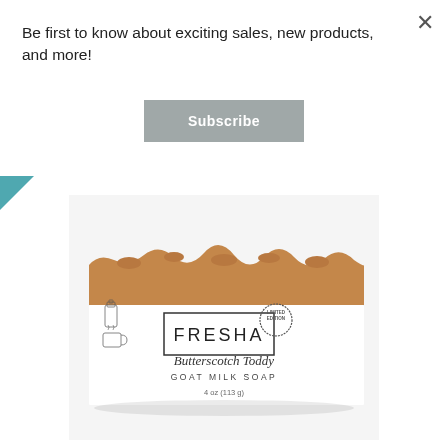Be first to know about exciting sales, new products, and more!
Subscribe
[Figure (photo): Product photo of Fresha Butterscotch Toddy Goat Milk Soap bar, 4 oz (113g), Limited Edition. The soap bar has a caramel/tan color with a textured top. The label is white with a rectangular border, cursive text and line drawings of a bottle and mug.]